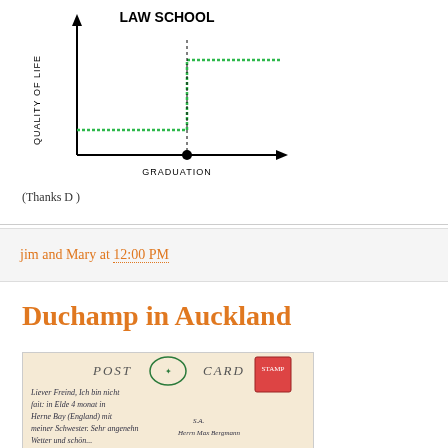[Figure (other): Hand-drawn chart showing Quality of Life vs Graduation with a title 'LAW SCHOOL'. The horizontal axis is labeled 'GRADUATION' and the vertical axis is labeled 'QUALITY OF LIFE'. A green step-shaped line shows low quality of life during law school, then jumping up after graduation.]
(Thanks D )
jim and Mary at 12:00 PM
Duchamp in Auckland
[Figure (photo): Image of a vintage POST CARD with handwritten text in German, a postage stamp, and green card header design.]